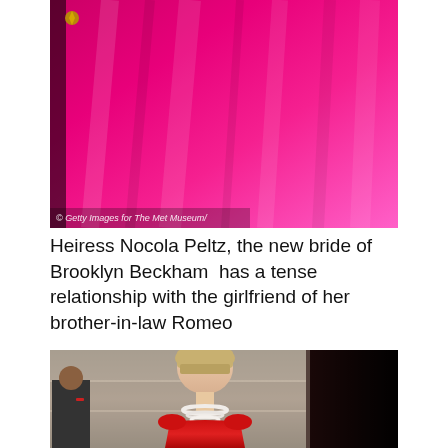[Figure (photo): Photo of a person in a bright pink/magenta flowing gown, with a gold pin accessory visible. Watermark reads '© Getty Images for The Met Museum/']
© Getty Images for The Met Museum/
Heiress Nocola Peltz, the new bride of Brooklyn Beckham  has a tense relationship with the girlfriend of her brother-in-law Romeo
[Figure (photo): Photo of a young blonde woman with bangs wearing a red sleeveless dress and layered pearl necklaces, looking to the side. A man in a dark suit with a red lanyard is visible in the background on the left.]